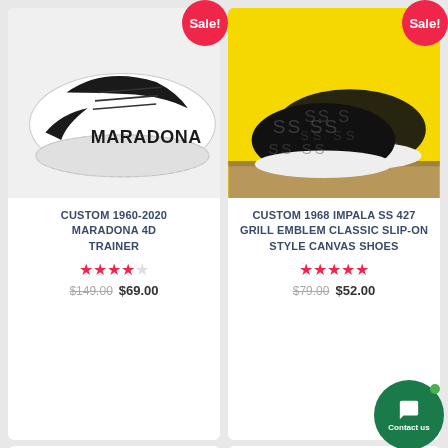[Figure (photo): Custom 1960-2020 Maradona 4D Trainer sneaker, white with black design and MARADONA text]
CUSTOM 1960-2020 MARADONA 4D TRAINER
★★★★☆ $149.00 $69.00
[Figure (photo): Custom 1968 Impala SS 427 Grill Emblem Classic Slip-On Style Canvas Shoes, black with pattern on yellow background]
CUSTOM 1968 IMPALA SS 427 GRILL EMBLEM CLASSIC SLIP-ON STYLE CANVAS SHOES
★★★★★ $79.00 $52.00